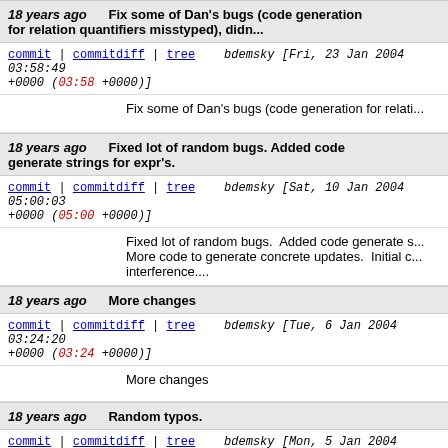18 years ago  Fix some of Dan's bugs (code generation for relation quantifiers misstyped), didn...
commit | commitdiff | tree   bdemsky [Fri, 23 Jan 2004 03:58:49 +0000 (03:58 +0000)]
Fix some of Dan's bugs (code generation for relati...
18 years ago  Fixed lot of random bugs. Added code generate strings for expr's.
commit | commitdiff | tree   bdemsky [Sat, 10 Jan 2004 05:00:03 +0000 (05:00 +0000)]
Fixed lot of random bugs. Added code generate s... More code to generate concrete updates. Initial c... interference....
18 years ago  More changes
commit | commitdiff | tree   bdemsky [Tue, 6 Jan 2004 03:24:20 +0000 (03:24 +0000)]
More changes
18 years ago  Random typos.
commit | commitdiff | tree   bdemsky [Mon, 5 Jan 2004 20:05:16 +0000 (20:05 +0000)]